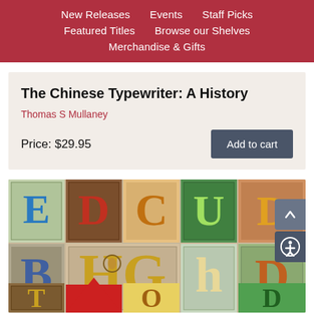New Releases | Events | Staff Picks | Featured Titles | Browse our Shelves | Merchandise & Gifts
The Chinese Typewriter: A History
Thomas S Mullaney
Price: $29.95
[Figure (illustration): Colorful illuminated decorative letters in medieval manuscript style, showing ornate typographic characters in red, blue, green, yellow, and brown on patterned backgrounds.]